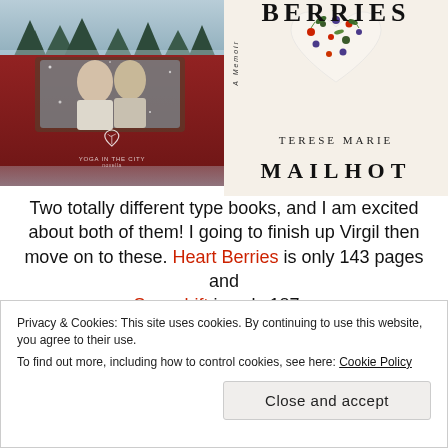[Figure (photo): Left book cover showing couple kissing in a red truck in snow with pine trees, with a yoga/city logo at bottom center]
[Figure (photo): Right book cover: Heart Berries - A Memoir by Terese Marie Mailhot, with a heart made of berries illustration on cream background]
Two totally different type books, and I am excited about both of them! I going to finish up Virgil then move on to these. Heart Berries is only 143 pages and Snowdrift is only 197...
Privacy & Cookies: This site uses cookies. By continuing to use this website, you agree to their use.
To find out more, including how to control cookies, see here: Cookie Policy
Close and accept